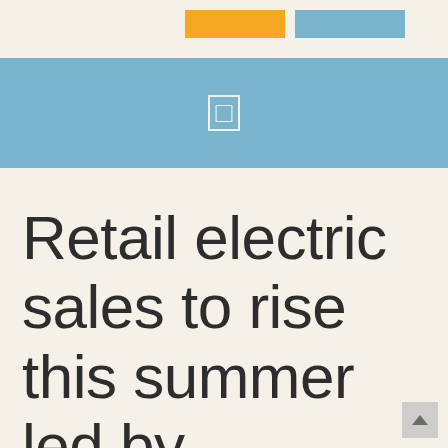[Figure (other): Two colored legend rectangles: yellow and blue]
[Figure (other): Blue horizontal band with a small white rectangle icon in the center]
Retail electric sales to rise this summer led by commercial, industrial demand: EIA